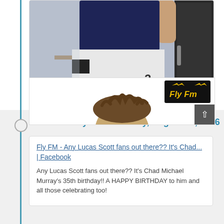[Figure (photo): Photo of a person in a dark navy jersey and white basketball shorts with black stripes, standing near a locker or door. Only the lower body and one arm visible.]
35th birthday – Wednesday, August 24, 2016
Fly FM - Any Lucas Scott fans out there?? It's Chad... | Facebook
Any Lucas Scott fans out there?? It's Chad Michael Murray's 35th birthday!! A HAPPY BIRTHDAY to him and all those celebrating too!
[Figure (screenshot): Preview image from Facebook post with Fly FM logo in top right corner and a person's head with messy brown hair in the center.]